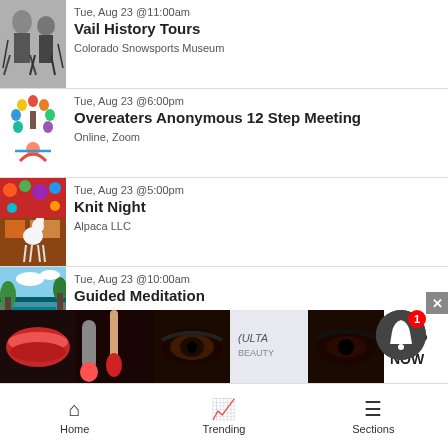Tue, Aug 23 @11:00am — Vail History Tours — Colorado Snowsports Museum
Tue, Aug 23 @6:00pm — Overeaters Anonymous 12 Step Meeting — Online, Zoom
Tue, Aug 23 @5:00pm — Knit Night — Alpaca LLC
Tue, Aug 23 @10:00am — Guided Meditation — Anahata Yoga
Tue, Aug 23 @11:00am
[Figure (photo): Advertisement banner for Ulta Beauty makeup products]
Home   Trending   Sections